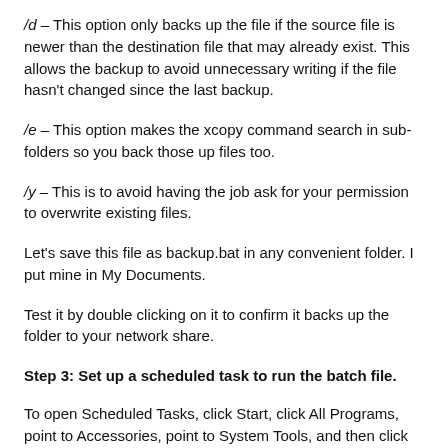/d – This option only backs up the file if the source file is newer than the destination file that may already exist. This allows the backup to avoid unnecessary writing if the file hasn't changed since the last backup.
/e – This option makes the xcopy command search in sub-folders so you back those up files too.
/y – This is to avoid having the job ask for your permission to overwrite existing files.
Let's save this file as backup.bat in any convenient folder. I put mine in My Documents.
Test it by double clicking on it to confirm it backs up the folder to your network share.
Step 3: Set up a scheduled task to run the batch file.
To open Scheduled Tasks, click Start, click All Programs, point to Accessories, point to System Tools, and then click